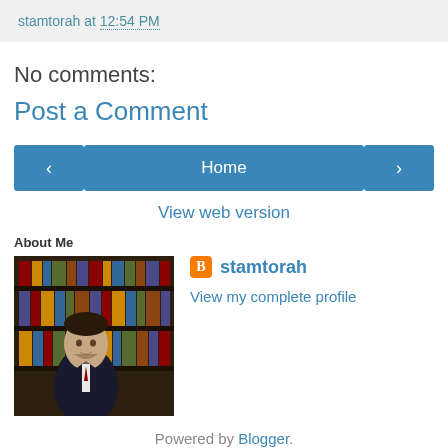stamtorah at 12:54 PM
No comments:
Post a Comment
‹  Home  ›
View web version
About Me
[Figure (photo): Profile photo of stamtorah, a man in a suit standing in front of bookshelves]
stamtorah
View my complete profile
Powered by Blogger.